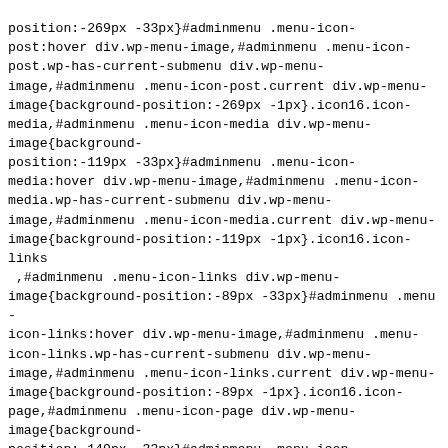position:-269px -33px}#adminmenu .menu-icon-post:hover div.wp-menu-image,#adminmenu .menu-icon-post.wp-has-current-submenu div.wp-menu-image,#adminmenu .menu-icon-post.current div.wp-menu-image{background-position:-269px -1px}.icon16.icon-media,#adminmenu .menu-icon-media div.wp-menu-image{background-position:-119px -33px}#adminmenu .menu-icon-media:hover div.wp-menu-image,#adminmenu .menu-icon-media.wp-has-current-submenu div.wp-menu-image,#adminmenu .menu-icon-media.current div.wp-menu-image{background-position:-119px -1px}.icon16.icon-links
 ,#adminmenu .menu-icon-links div.wp-menu-image{background-position:-89px -33px}#adminmenu .menu-icon-links:hover div.wp-menu-image,#adminmenu .menu-icon-links.wp-has-current-submenu div.wp-menu-image,#adminmenu .menu-icon-links.current div.wp-menu-image{background-position:-89px -1px}.icon16.icon-page,#adminmenu .menu-icon-page div.wp-menu-image{background-position:-149px -33px}#adminmenu .menu-icon-page:hover div.wp-menu-image,#adminmenu .menu-icon-page.wp-has-current-submenu div.wp-menu-image,#adminmenu .menu-icon-page.current div.wp-menu-image{background-position:-149px -1px}.icon16.icon-comments,#adminmenu .menu-icon-comments div.wp-menu-image{background-position:-29px -33px}#adminmenu .menu-icon-comments:hover div.wp-menu-image,#adminmenu .menu-icon-comments.wp-has-current-submenu div.wp-menu-image,#adminmenu .menu-icon-comments.wp-has-current-submenu div.wp-menu-